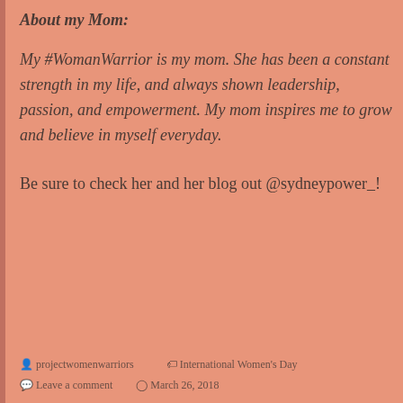About my Mom:
My #WomanWarrior is my mom. She has been a constant strength in my life, and always shown leadership, passion, and empowerment. My mom inspires me to grow and believe in myself everyday.
Be sure to check her and her blog out @sydneypower_!
projectwomenwarriors   International Women's Day   Leave a comment   March 26, 2018